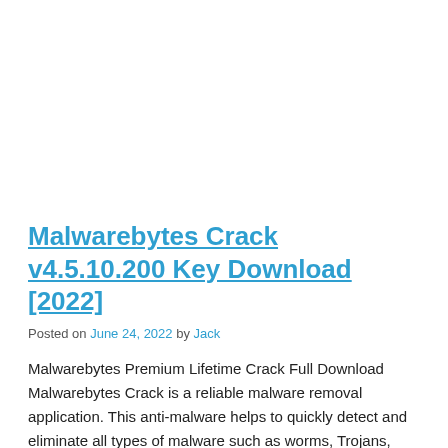Malwarebytes Crack v4.5.10.200 Key Download [2022]
Posted on June 24, 2022 by Jack
Malwarebytes Premium Lifetime Crack Full Download Malwarebytes Crack is a reliable malware removal application. This anti-malware helps to quickly detect and eliminate all types of malware such as worms, Trojans, rootkits, villains, and spyware. All you have to do is […]